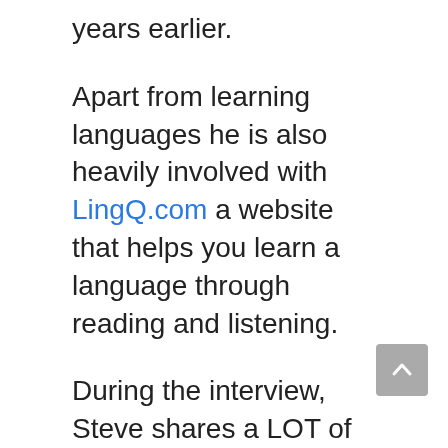years earlier.
Apart from learning languages he is also heavily involved with LingQ.com a website that helps you learn a language through reading and listening.
During the interview, Steve shares a LOT of valuable tips and insights on how to learn a language.
This is an episode you do not want to miss.
The Episode